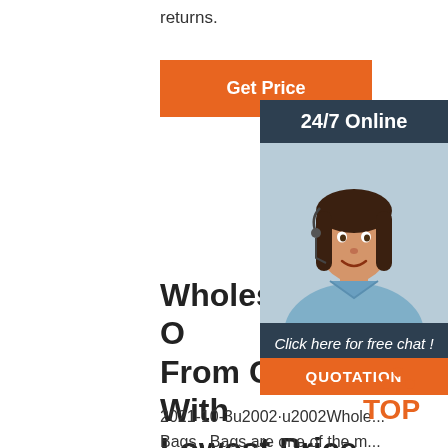returns.
Get Price
[Figure (photo): Sidebar widget showing a woman with headset, 24/7 Online customer support, Click here for free chat!, and QUOTATION button]
Wholesale Bags O From China With Lowest Price
2021-10-3u2002·u2002Wholesale Bags . Bags are one of the most important accessories for women, can show your style. Suppliers in cheap wholesale bags from China must be your best cooperative partners for your business. Buy new styles in chic and trendy handbags at Wholesale7 online store.Whether you like